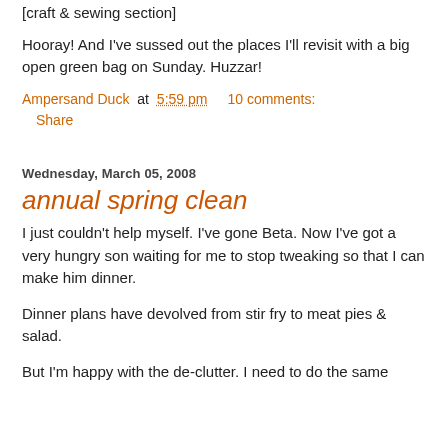[craft & sewing section]
Hooray! And I've sussed out the places I'll revisit with a big open green bag on Sunday. Huzzar!
Ampersand Duck at 5:59 pm   10 comments:
Share
Wednesday, March 05, 2008
annual spring clean
I just couldn't help myself. I've gone Beta. Now I've got a very hungry son waiting for me to stop tweaking so that I can make him dinner.
Dinner plans have devolved from stir fry to meat pies & salad.
But I'm happy with the de-clutter. I need to do the same